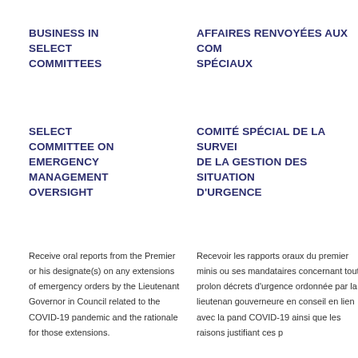BUSINESS IN SELECT COMMITTEES
AFFAIRES RENVOYÉES AUX COMITÉS SPÉCIAUX
SELECT COMMITTEE ON EMERGENCY MANAGEMENT OVERSIGHT
COMITÉ SPÉCIAL DE LA SURVEILLANCE DE LA GESTION DES SITUATIONS D'URGENCE
Receive oral reports from the Premier or his designate(s) on any extensions of emergency orders by the Lieutenant Governor in Council related to the COVID-19 pandemic and the rationale for those extensions.
Recevoir les rapports oraux du premier ministre ou ses mandataires concernant toute prolongation des décrets d'urgence ordonnée par la lieutenante-gouverneure en conseil en lien avec la pandémie de COVID-19 ainsi que les raisons justifiant ces prolongations.